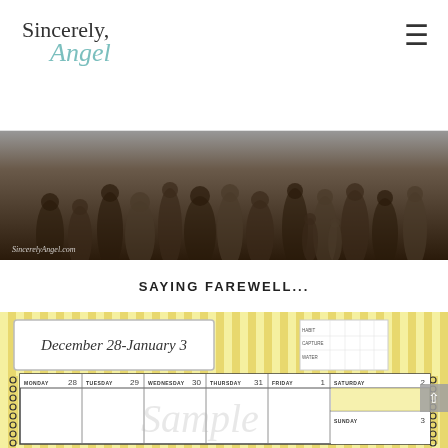Sincerely, Angel
[Figure (photo): Group photo of period-costumed people (Downton Abbey style cast), black and white / sepia toned, with watermark 'SincerelyAngel.com']
SAYING FAREWELL...
[Figure (other): Weekly planner calendar page for December 28 - January 3, yellow striped background, with days Monday 28 through Saturday 2 and Sunday 3, with 'Sample' watermark text]